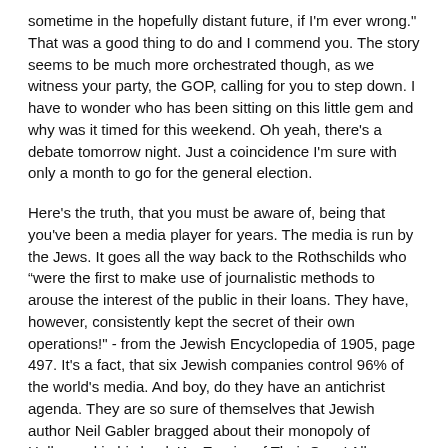sometime in the hopefully distant future, if I'm ever wrong." That was a good thing to do and I commend you. The story seems to be much more orchestrated though, as we witness your party, the GOP, calling for you to step down. I have to wonder who has been sitting on this little gem and why was it timed for this weekend. Oh yeah, there's a debate tomorrow night. Just a coincidence I'm sure with only a month to go for the general election.
Here's the truth, that you must be aware of, being that you've been a media player for years. The media is run by the Jews. It goes all the way back to the Rothschilds who “were the first to make use of journalistic methods to arouse the interest of the public in their loans. They have, however, consistently kept the secret of their own operations!" - from the Jewish Encyclopedia of 1905, page 497. It's a fact, that six Jewish companies control 96% of the world's media. And boy, do they have an antichrist agenda. They are so sure of themselves that Jewish author Neil Gabler bragged about their monopoly of Hollywood in his book 'An Empire of Their Own.' All you have to do is search for who owns these conglomerates and you will realize a fire-breathing